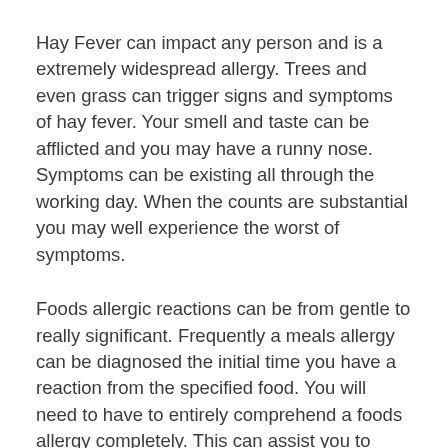Hay Fever can impact any person and is a extremely widespread allergy. Trees and even grass can trigger signs and symptoms of hay fever. Your smell and taste can be afflicted and you may have a runny nose. Symptoms can be existing all through the working day. When the counts are substantial you may well experience the worst of symptoms.
Foods allergic reactions can be from gentle to really significant. Frequently a meals allergy can be diagnosed the initial time you have a reaction from the specified food. You will need to have to entirely comprehend a foods allergy completely. This can assist you to understand the foodstuff you can try to eat and the types you need to have to